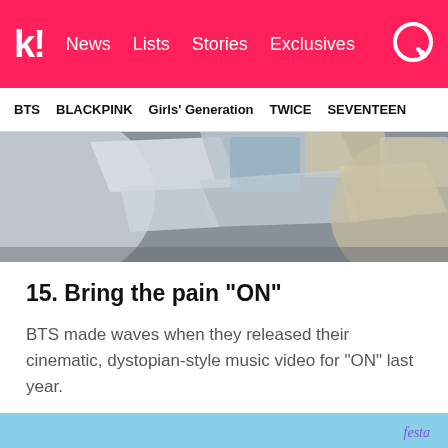k! News Lists Stories Exclusives
BTS BLACKPINK Girls' Generation TWICE SEVENTEEN
[Figure (photo): Top cropped image showing abstract shapes/quilt on grey surface, part of a BTS music video or photoshoot]
15. Bring the pain “ON”
BTS made waves when they released their cinematic, dystopian-style music video for “ON” last year.
[Figure (photo): BTS members sitting on rocky outcrop/cliff under blue sky, with 'festa' watermark in top right corner]